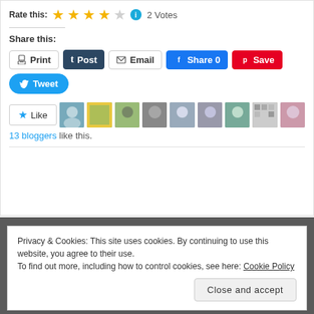Rate this: ★★★★☆ ℹ 2 Votes
Share this:
Print | Post | Email | Share 0 | Save | Tweet
Like
[Figure (photo): Row of 9 blogger avatar thumbnails]
13 bloggers like this.
Privacy & Cookies: This site uses cookies. By continuing to use this website, you agree to their use.
To find out more, including how to control cookies, see here: Cookie Policy
Close and accept